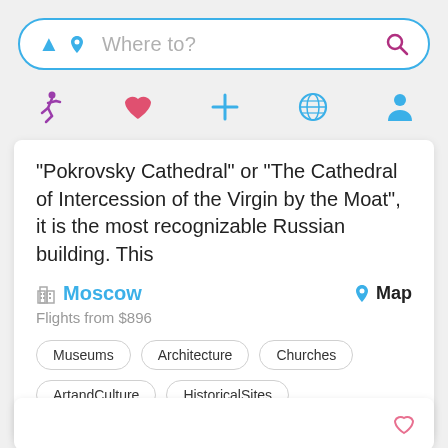[Figure (screenshot): Search bar with location pin icon and placeholder text 'Where to?' and a search/magnifying glass icon on the right]
[Figure (infographic): Navigation icon row with runner, heart, plus, globe, and person icons]
"Pokrovsky Cathedral" or "The Cathedral of Intercession of the Virgin by the Moat", it is the most recognizable Russian building. This
Moscow   Map
Flights from $896
Museums
Architecture
Churches
ArtandCulture
HistoricalSites